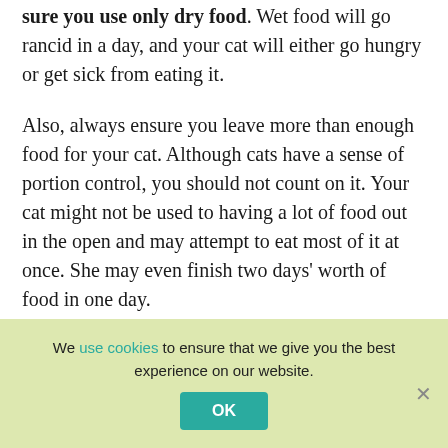sure you use only dry food. Wet food will go rancid in a day, and your cat will either go hungry or get sick from eating it.
Also, always ensure you leave more than enough food for your cat. Although cats have a sense of portion control, you should not count on it. Your cat might not be used to having a lot of food out in the open and may attempt to eat most of it at once. She may even finish two days' worth of food in one day.
We use cookies to ensure that we give you the best experience on our website.